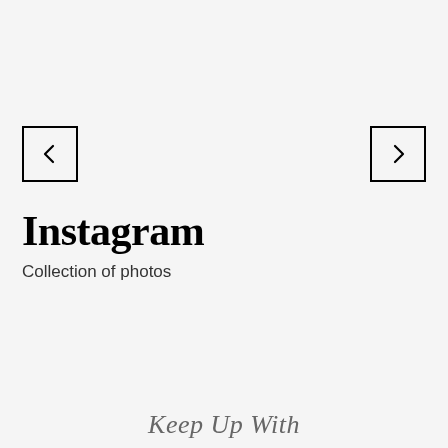[Figure (other): Left navigation arrow button — a square outlined box containing a left-pointing chevron '<']
[Figure (other): Right navigation arrow button — a square outlined box containing a right-pointing chevron '>']
Instagram
Collection of photos
Keep Up With